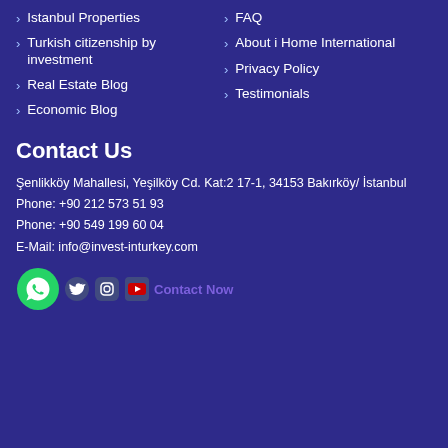Istanbul Properties
Turkish citizenship by investment
Real Estate Blog
Economic Blog
FAQ
About i Home International
Privacy Policy
Testimonials
Contact Us
Şenlikköy Mahallesi, Yeşilköy Cd. Kat:2 17-1, 34153 Bakırköy/ İstanbul
Phone: +90 212 573 51 93
Phone: +90 549 199 60 04
E-Mail: info@invest-inturkey.com
[Figure (infographic): Social media icons: WhatsApp, Twitter, Instagram, YouTube and 'Contact Now' text]